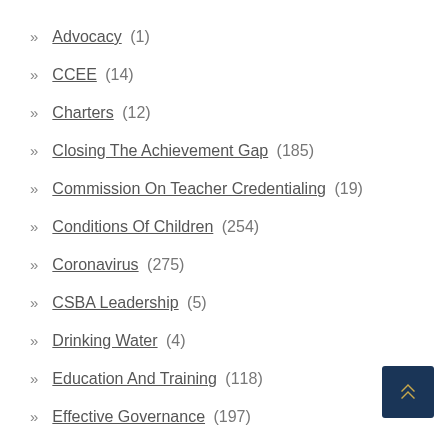Advocacy (1)
CCEE (14)
Charters (12)
Closing The Achievement Gap (185)
Commission On Teacher Credentialing (19)
Conditions Of Children (254)
Coronavirus (275)
CSBA Leadership (5)
Drinking Water (4)
Education And Training (118)
Effective Governance (197)
Elections (15)